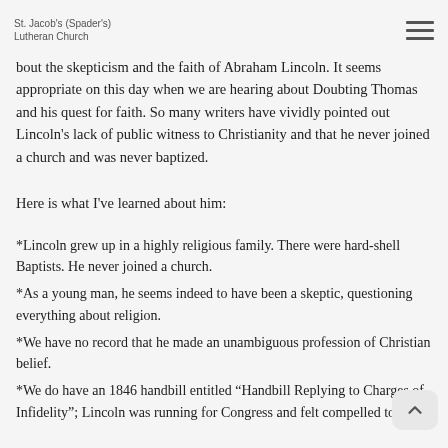St. Jacob's (Spader's) Lutheran Church
bout the skepticism and the faith of Abraham Lincoln. It seems appropriate on this day when we are hearing about Doubting Thomas and his quest for faith. So many writers have vividly pointed out Lincoln's lack of public witness to Christianity and that he never joined a church and was never baptized.
Here is what I've learned about him:
*Lincoln grew up in a highly religious family. There were hard-shell Baptists. He never joined a church.
*As a young man, he seems indeed to have been a skeptic, questioning everything about religion.
*We have no record that he made an unambiguous profession of Christian belief.
*We do have an 1846 handbill entitled “Handbill Replying to Charges of Infidelity”; Lincoln was running for Congress and felt compelled to